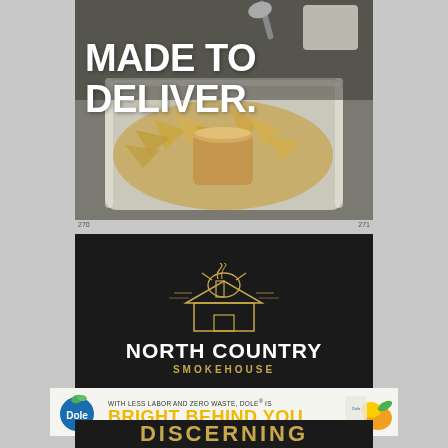[Figure (photo): Photo of nachos and dipping sauce in a white take-out tray with text overlay 'MADE TO DELIVER.' in bold white font]
[Figure (logo): North Country Smokehouse logo — gold illustrated bull and smokehouse building on black background with white bold text 'NORTH COUNTRY' and gold spaced text 'SMOKEHOUSE']
[Figure (photo): Dole advertisement banner: 'WITH LESS LABOR AND ZERO WASTE, DOLE® IS BRIGHT BEHIND YOU.' with Dole logo and fruit imagery]
DISCERNING